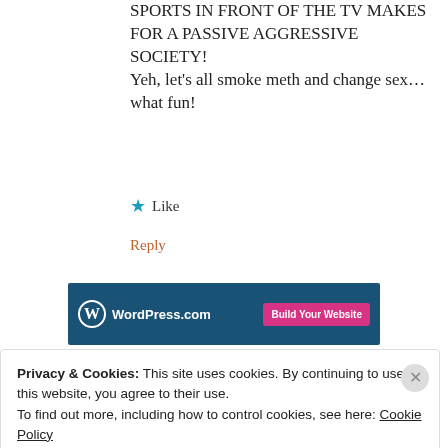SPORTS IN FRONT OF THE TV MAKES FOR A PASSIVE AGGRESSIVE SOCIETY! Yeh, let's all smoke meth and change sex… what fun!
★ Like
Reply
[Figure (screenshot): WordPress.com advertisement banner with logo and 'Build Your Website' button on dark blue background]
REPORT THIS AD
[Figure (logo): Abstract W/arrow logo in magenta/pink for James Byrne commenter avatar]
James Byrne
Privacy & Cookies: This site uses cookies. By continuing to use this website, you agree to their use.
To find out more, including how to control cookies, see here: Cookie Policy
Close and accept